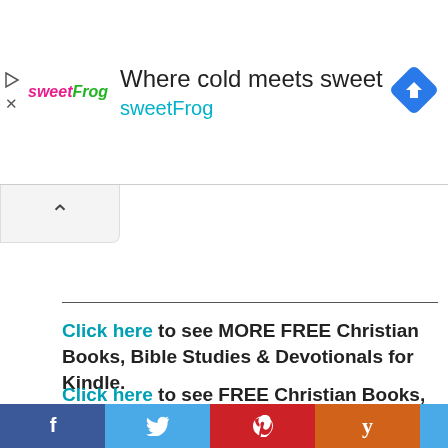[Figure (screenshot): SweetFrog advertisement banner with logo, tagline 'Where cold meets sweet sweetFrog', and a blue diamond navigation icon on the right. Play and X icons on the far left.]
[Figure (screenshot): Chevron/up arrow button collapsed UI element]
Click here to see MORE FREE Christian Books, Bible Studies & Devotionals for Kindle.
Click here to see FREE Christian Books, Bible Studies & Devotionals for Nook.
[Figure (infographic): Social sharing bar with Facebook (blue), Twitter (light blue), Pinterest (red), Yummly (orange) buttons]